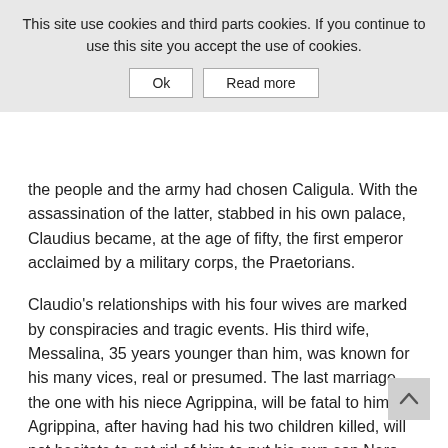This site use cookies and third parts cookies. If you continue to use this site you accept the use of cookies.
Ok | Read more
the people and the army had chosen Caligula. With the assassination of the latter, stabbed in his own palace, Claudius became, at the age of fifty, the first emperor acclaimed by a military corps, the Praetorians.
Claudio's relationships with his four wives are marked by conspiracies and tragic events. His third wife, Messalina, 35 years younger than him, was known for his many vices, real or presumed. The last marriage, the one with his niece Agrippina, will be fatal to him: Agrippina, after having had his two children killed, will not hesitate to get rid of him to put his own son Nero on the throne of the empire.
At last the figure of the emperor emerging from the exhibition shows a man and a ruler able to take care of his people, to promote useful economic reforms and great public works, to